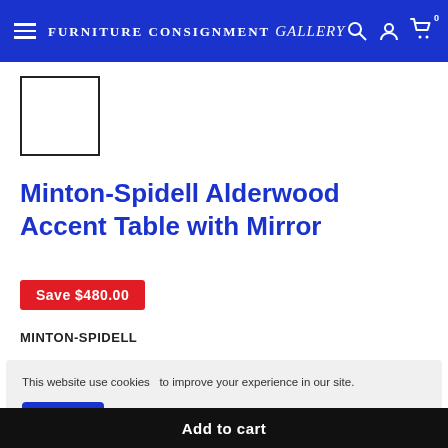Furniture Consignment Gallery
[Figure (photo): Product thumbnail image placeholder (empty white box with black border)]
Minton-Spidell Alderwood Accent Table with Mirror
Save $480.00
MINTON-SPIDELL
This website use cookies   to improve your experience in our site.
Got It!
Add to cart